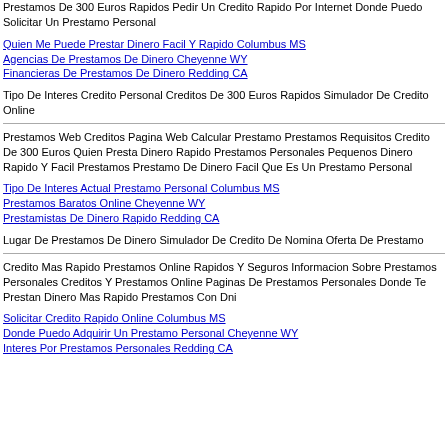Prestamos De 300 Euros Rapidos Pedir Un Credito Rapido Por Internet Donde Puedo Solicitar Un Prestamo Personal
Quien Me Puede Prestar Dinero Facil Y Rapido Columbus MS
Agencias De Prestamos De Dinero Cheyenne WY
Financieras De Prestamos De Dinero Redding CA
Tipo De Interes Credito Personal Creditos De 300 Euros Rapidos Simulador De Credito Online
Prestamos Web Creditos Pagina Web Calcular Prestamo Prestamos Requisitos Credito De 300 Euros Quien Presta Dinero Rapido Prestamos Personales Pequenos Dinero Rapido Y Facil Prestamos Prestamo De Dinero Facil Que Es Un Prestamo Personal
Tipo De Interes Actual Prestamo Personal Columbus MS
Prestamos Baratos Online Cheyenne WY
Prestamistas De Dinero Rapido Redding CA
Lugar De Prestamos De Dinero Simulador De Credito De Nomina Oferta De Prestamo
Credito Mas Rapido Prestamos Online Rapidos Y Seguros Informacion Sobre Prestamos Personales Creditos Y Prestamos Online Paginas De Prestamos Personales Donde Te Prestan Dinero Mas Rapido Prestamos Con Dni
Solicitar Credito Rapido Online Columbus MS
Donde Puedo Adquirir Un Prestamo Personal Cheyenne WY
Interes Por Prestamos Personales Redding CA